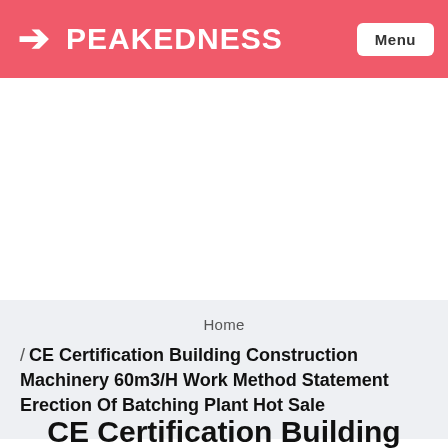PEAKEDNESS Menu
Home
/ CE Certification Building Construction Machinery 60m3/H Work Method Statement Erection Of Batching Plant Hot Sale
CE Certification Building